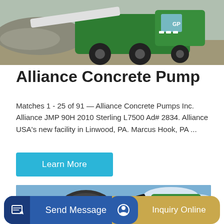[Figure (photo): Green and black concrete pump truck/machine on a gravel/sand site with rock piles in the background]
Alliance Concrete Pump
Matches 1 - 25 of 91 — Alliance Concrete Pumps Inc. Alliance JMP 90H 2010 Sterling L7500 Ad# 2834. Alliance USA's new facility in Linwood, PA. Marcus Hook, PA ...
Learn More
[Figure (photo): Green concrete mixer truck with rotating drum, blue sky and clouds in background, partial view]
Send Message
Inquiry Online